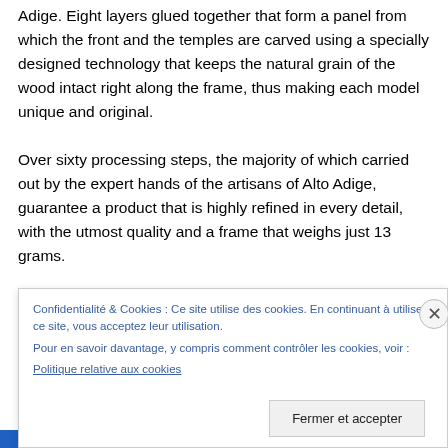Adige. Eight layers glued together that form a panel from which the front and the temples are carved using a specially designed technology that keeps the natural grain of the wood intact right along the frame, thus making each model unique and original.
Over sixty processing steps, the majority of which carried out by the expert hands of the artisans of Alto Adige, guarantee a product that is highly refined in every detail, with the utmost quality and a frame that weighs just 13 grams.
The temples are completely smooth thanks to the
Confidentialité & Cookies : Ce site utilise des cookies. En continuant à utiliser ce site, vous acceptez leur utilisation.
Pour en savoir davantage, y compris comment contrôler les cookies, voir :
Politique relative aux cookies
Fermer et accepter